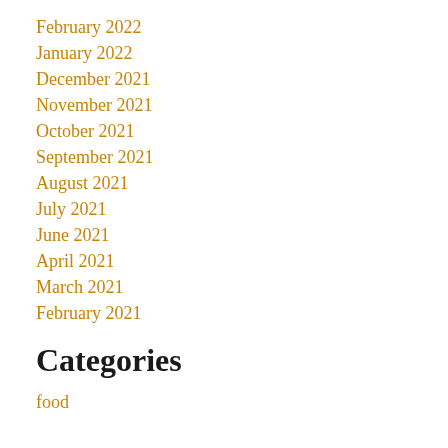February 2022
January 2022
December 2021
November 2021
October 2021
September 2021
August 2021
July 2021
June 2021
April 2021
March 2021
February 2021
Categories
food